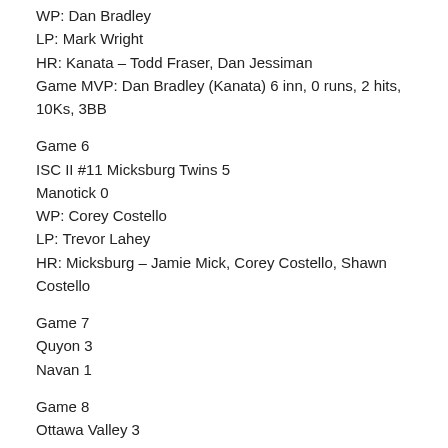WP: Dan Bradley
LP: Mark Wright
HR: Kanata – Todd Fraser, Dan Jessiman
Game MVP: Dan Bradley (Kanata) 6 inn, 0 runs, 2 hits, 10Ks, 3BB
Game 6
ISC II #11 Micksburg Twins 5
Manotick 0
WP: Corey Costello
LP: Trevor Lahey
HR: Micksburg – Jamie Mick, Corey Costello, Shawn Costello
Game 7
Quyon 3
Navan 1
Game 8
Ottawa Valley 3
Napanee 2
Game 9
Fitzroy Harbour 9
Quyon 1
Game 10
Manotick 7
Ottawa Valley 4
Game 11